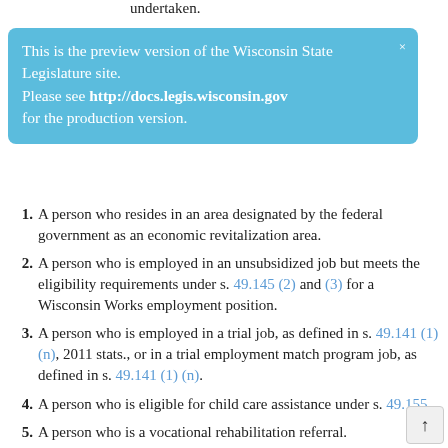undertaken.
This is the preview version of the Wisconsin State Legislature site. Please see http://docs.legis.wisconsin.gov for the production version.
1. A person who resides in an area designated by the federal government as an economic revitalization area.
2. A person who is employed in an unsubsidized job but meets the eligibility requirements under s. 49.145 (2) and (3) for a Wisconsin Works employment position.
3. A person who is employed in a trial job, as defined in s. 49.141 (1) (n), 2011 stats., or in a trial employment match program job, as defined in s. 49.141 (1) (n).
4. A person who is eligible for child care assistance under s. 49.155.
5. A person who is a vocational rehabilitation referral.
6. An economically disadvantaged youth.
7. An economically disadvantaged veteran.
8. A supplemental security income recipient.
9. A general assistance recipient.
10. An economically disadvantaged ex-convict.
11. A qualified summer youth employee, as defined in 26 USC